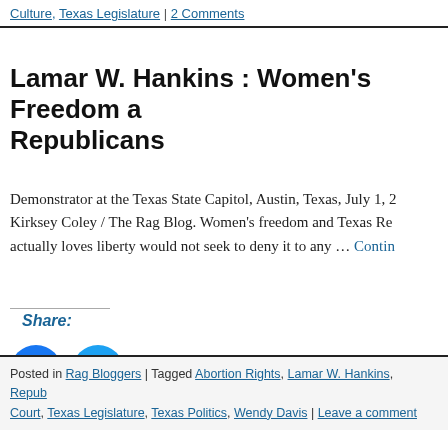Culture, Texas Legislature | 2 Comments
Lamar W. Hankins : Women's Freedom and Republicans
Demonstrator at the Texas State Capitol, Austin, Texas, July 1, 2... Kirksey Coley / The Rag Blog. Women's freedom and Texas Re... actually loves liberty would not seek to deny it to any … Continue
Share:
[Figure (other): Facebook and Twitter share buttons (circular icons)]
Posted in Rag Bloggers | Tagged Abortion Rights, Lamar W. Hankins, Repub... Court, Texas Legislature, Texas Politics, Wendy Davis | Leave a comment